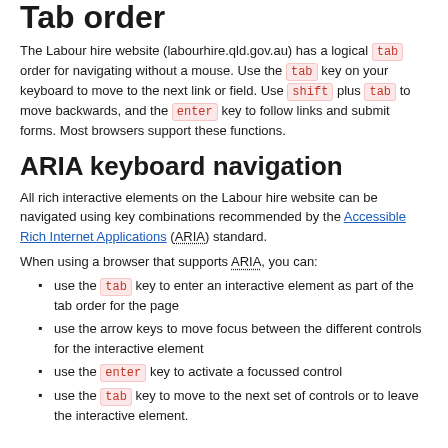Tab order
The Labour hire website (labourhire.qld.gov.au) has a logical tab order for navigating without a mouse. Use the tab key on your keyboard to move to the next link or field. Use shift plus tab to move backwards, and the enter key to follow links and submit forms. Most browsers support these functions.
ARIA keyboard navigation
All rich interactive elements on the Labour hire website can be navigated using key combinations recommended by the Accessible Rich Internet Applications (ARIA) standard.
When using a browser that supports ARIA, you can:
use the tab key to enter an interactive element as part of the tab order for the page
use the arrow keys to move focus between the different controls for the interactive element
use the enter key to activate a focussed control
use the tab key to move to the next set of controls or to leave the interactive element.